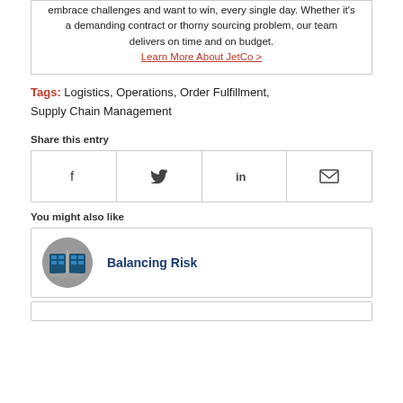embrace challenges and want to win, every single day. Whether it's a demanding contract or thorny sourcing problem, our team delivers on time and on budget. Learn More About JetCo >
Tags: Logistics, Operations, Order Fulfillment, Supply Chain Management
Share this entry
[Figure (other): Social share buttons: Facebook, Twitter, LinkedIn, Email]
You might also like
Balancing Risk